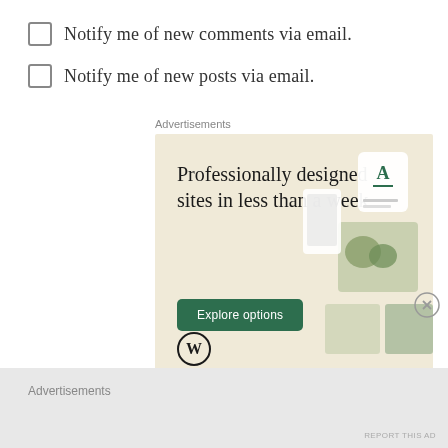Notify me of new comments via email.
Notify me of new posts via email.
Advertisements
[Figure (illustration): WordPress advertisement banner with beige background showing 'Professionally designed sites in less than a week' headline, green 'Explore options' button, WordPress logo, and website mockup screenshots on the right side.]
Advertisements